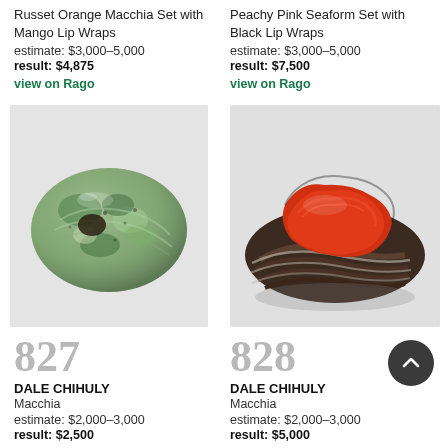Russet Orange Macchia Set with Mango Lip Wraps
estimate: $3,000–5,000
result: $4,875
view on Rago
Peachy Pink Seaform Set with Black Lip Wraps
estimate: $3,000–5,000
result: $7,500
view on Rago
[Figure (photo): Glass macchia artwork, green/teal mottled egg shape with opening]
[Figure (photo): Glass seaform artwork, red and dark swirled shell-like form]
827
DALE CHIHULY
Macchia
estimate: $2,000–3,000
result: $2,500
828
DALE CHIHULY
Macchia
estimate: $2,000–3,000
result: $5,000